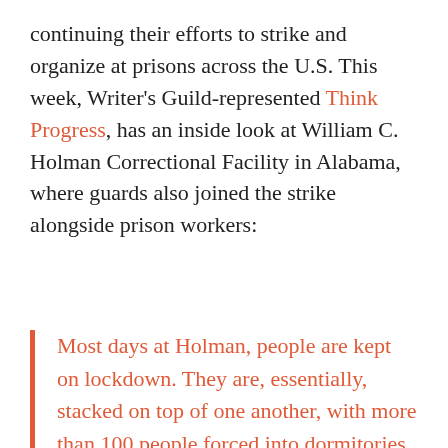continuing their efforts to strike and organize at prisons across the U.S. This week, Writer's Guild-represented Think Progress, has an inside look at William C. Holman Correctional Facility in Alabama, where guards also joined the strike alongside prison workers:
Most days at Holman, people are kept on lockdown. They are, essentially, stacked on top of one another, with more than 100 people forced into dormitories so small that some have to sit just so others might stand. According to Tom, recreation time is almost non-existent. Prisoners don't go outside at all 25 days out of every month, and they have no educational